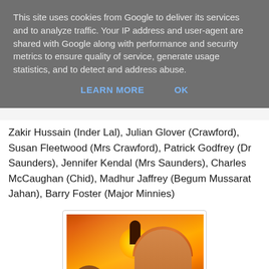This site uses cookies from Google to deliver its services and to analyze traffic. Your IP address and user-agent are shared with Google along with performance and security metrics to ensure quality of service, generate usage statistics, and to detect and address abuse.
LEARN MORE    OK
Zakir Hussain (Inder Lal), Julian Glover (Crawford), Susan Fleetwood (Mrs Crawford), Patrick Godfrey (Dr Saunders), Jennifer Kendal (Mrs Saunders), Charles McCaughan (Chid), Madhur Jaffrey (Begum Mussarat Jahan), Barry Foster (Major Minnies)
[Figure (illustration): Movie poster artwork with warm orange and red tones showing a woman's face prominently in the foreground with a headscarf, architectural silhouettes and a bright sun in the background, and other figures in the lower portion.]